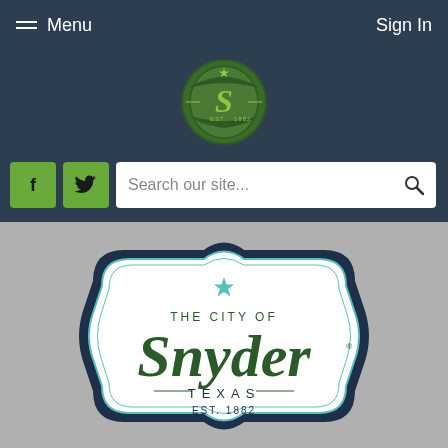Menu   Sign In
[Figure (logo): City of Snyder green circular badge logo with S monogram, est. 1882]
Search our site...
[Figure (logo): The City of Snyder Texas Est. 1882 decorative badge logo]